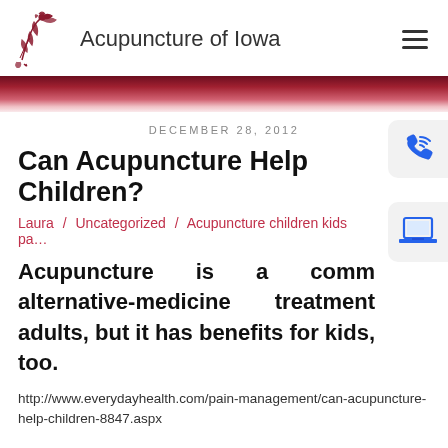[Figure (logo): Acupuncture of Iowa logo with red floral/bird illustration and text]
Acupuncture of Iowa
DECEMBER 28, 2012
Can Acupuncture Help Children?
Laura / Uncategorized / Acupuncture children kids pa...
Acupuncture is a common alternative-medicine treatment for adults, but it has benefits for kids, too.
http://www.everydayhealth.com/pain-management/can-acupuncture-help-children-8847.aspx